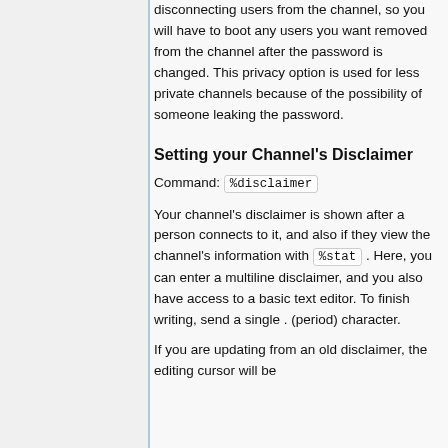disconnecting users from the channel, so you will have to boot any users you want removed from the channel after the password is changed. This privacy option is used for less private channels because of the possibility of someone leaking the password.
Setting your Channel's Disclaimer
Command: %disclaimer
Your channel's disclaimer is shown after a person connects to it, and also if they view the channel's information with %stat . Here, you can enter a multiline disclaimer, and you also have access to a basic text editor. To finish writing, send a single . (period) character.
If you are updating from an old disclaimer, the editing cursor will be